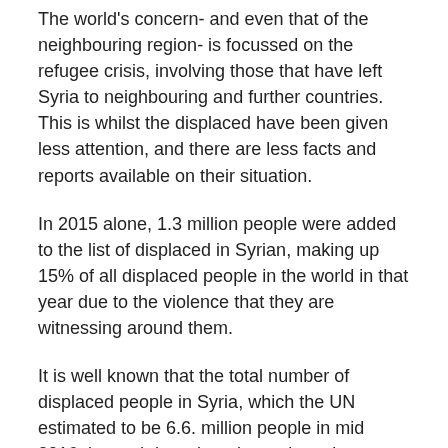The world's concern- and even that of the neighbouring region- is focussed on the refugee crisis, involving those that have left Syria to neighbouring and further countries. This is whilst the displaced have been given less attention, and there are less facts and reports available on their situation.
In 2015 alone, 1.3 million people were added to the list of displaced in Syrian, making up 15% of all displaced people in the world in that year due to the violence that they are witnessing around them.
It is well known that the total number of displaced people in Syria, which the UN estimated to be 6.6. million people in mid 2016, is much less than the real number, particularly as it is difficult for international organisations to reach various areas in Syria, especially those under the control of ISIS. In addition, the process of documenting the number of displaced people faces technical and methodological challenges, such as the fact that the displaced live in host communities and do not introduce themselves (for example,